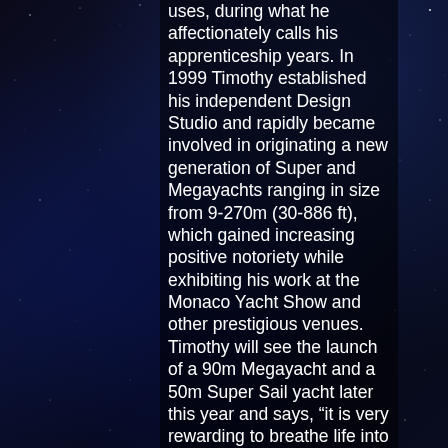uses, during what he affectionately calls his apprenticeship years. In 1999 Timothy established his independent Design Studio and rapidly became involved in originating a new generation of Super and Megayachts ranging in size from 9-270m (30-886 ft), which gained increasing positive notoriety while exhibiting his work at the Monaco Yacht Show and other prestigious venues. Timothy will see the launch of a 90m Megayacht and a 50m Super Sail yacht later this year and says, "it is very rewarding to breathe life into these innovative projects which are ultimately positive reflections of each satisfied Owner". Timothy Saunders Yacht Design LTD